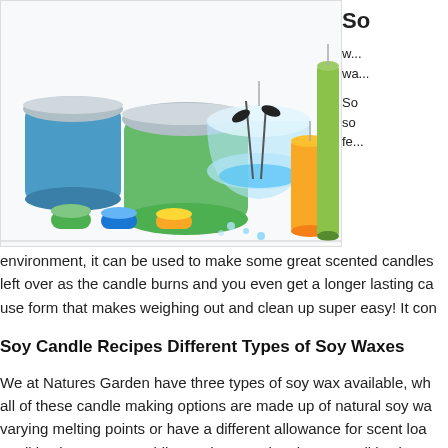[Figure (photo): Various colorful candles including jar candles, pillar candles, tea lights, and a glass bowl candle with blue water and floral decoration]
So
w... wa...
So so fe...
environment, it can be used to make some great scented candles left over as the candle burns and you even get a longer lasting ca use form that makes weighing out and clean up super easy! It con
Soy Candle Recipes Different Types of Soy Waxes
We at Natures Garden have three types of soy wax available, wh all of these candle making options are made up of natural soy wa varying melting points or have a different allowance for scent loa qualities in one area, while another type has better qualities in...